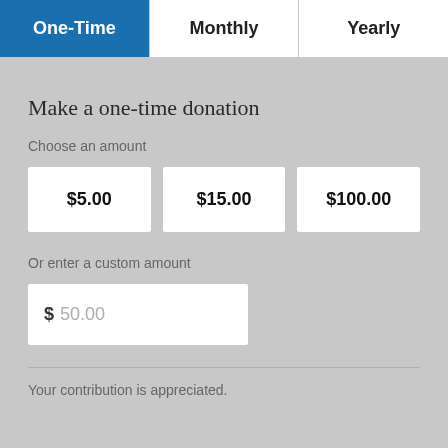One-Time | Monthly | Yearly
Make a one-time donation
Choose an amount
$5.00
$15.00
$100.00
Or enter a custom amount
$ 50.00
Your contribution is appreciated.